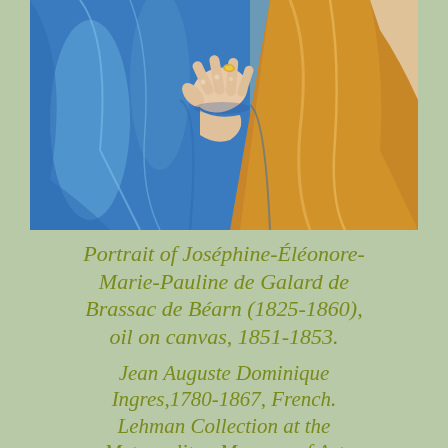[Figure (photo): Close-up detail of a painting showing two figures in elaborate period dress — one in a rich blue satin gown with a ringed hand resting on fabric, another in golden brocade fabric. Cropped to show torsos and hands only.]
Portrait of Joséphine-Éléonore-Marie-Pauline de Galard de Brassac de Béarn (1825-1860), oil on canvas, 1851-1853. Jean Auguste Dominique Ingres,1780-1867, French. Lehman Collection at the Metropolitan Museum of Art